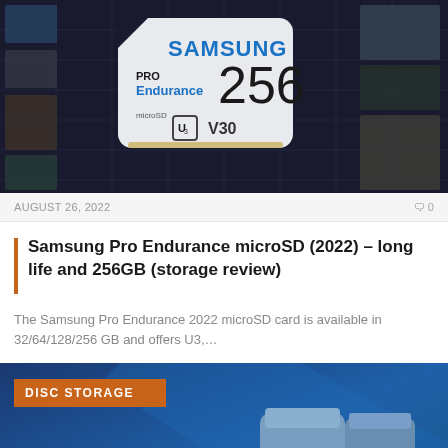[Figure (photo): Samsung PRO Endurance 256GB microSD card on dark background with photos/cards scattered around]
AUGUST 26, 2022
0
Samsung Pro Endurance microSD (2022) – long life and 256GB (storage review)
The Samsung Pro Endurance 2022 microSD card is available in 32/64/128/256 GB and offers U3,...
[Figure (photo): Blue Samsung USB drives on blue gradient background with DISC STORAGE badge]